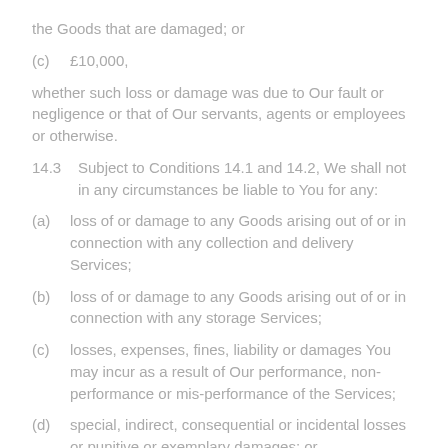the Goods that are damaged; or
(c)    £10,000,
whether such loss or damage was due to Our fault or negligence or that of Our servants, agents or employees or otherwise.
14.3    Subject to Conditions 14.1 and 14.2, We shall not in any circumstances be liable to You for any:
(a)    loss of or damage to any Goods arising out of or in connection with any collection and delivery Services;
(b)    loss of or damage to any Goods arising out of or in connection with any storage Services;
(c)    losses, expenses, fines, liability or damages You may incur as a result of Our performance, non-performance or mis-performance of the Services;
(d)    special, indirect, consequential or incidental losses or punitive or exemplary damages; or